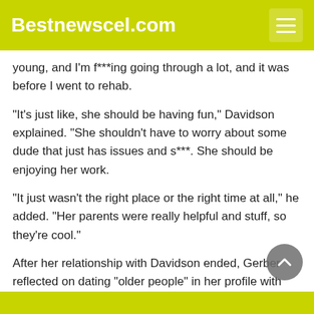Bestnewscel.com
young, and I'm f***ing going through a lot, and it was before I went to rehab.
“It’s just like, she should be having fun,” Davidson explained. “She shouldn’t have to worry about some dude that just has issues and s***. She should be enjoying her work.
“It just wasn’t the right place or the right time at all,” he added. “Her parents were really helpful and stuff, so they’re cool.”
After her relationship with Davidson ended, Gerber reflected on dating “older people” in her profile with Vogue. “I got put in situations where one day I’d wake up and be like, ‘How did I get here? I have no idea what I’m doing, and I need help,’” the model said (via Daily Mail).